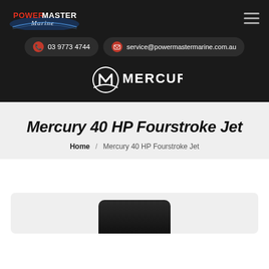Powermaster Marine — navigation header with logo and hamburger menu
03 9773 4744
service@powermastermarine.com.au
[Figure (logo): Mercury Marine logo — circular M emblem with MERCURY text]
Mercury 40 HP Fourstroke Jet
Home / Mercury 40 HP Fourstroke Jet
[Figure (photo): Mercury 40 HP Fourstroke Jet engine, top portion visible at bottom of page]